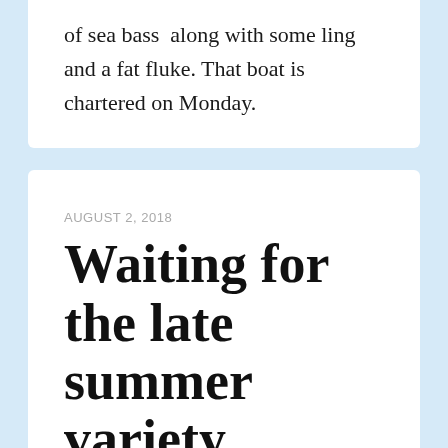of sea bass  along with some ling and a fat fluke. That boat is chartered on Monday.
AUGUST 2, 2018
Waiting for the late summer variety
The usual surge of late summer visitors from the south hasn't really started yet despite very warm waters,